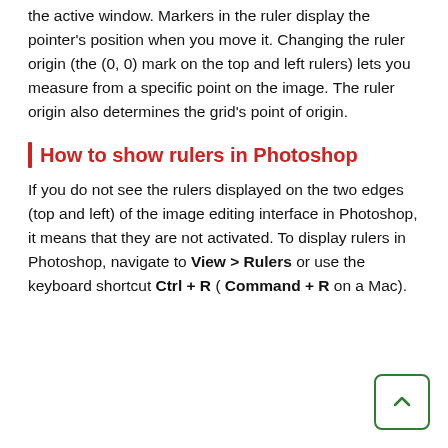the active window. Markers in the ruler display the pointer's position when you move it. Changing the ruler origin (the (0, 0) mark on the top and left rulers) lets you measure from a specific point on the image. The ruler origin also determines the grid's point of origin.
How to show rulers in Photoshop
If you do not see the rulers displayed on the two edges (top and left) of the image editing interface in Photoshop, it means that they are not activated. To display rulers in Photoshop, navigate to View > Rulers or use the keyboard shortcut Ctrl + R ( Command + R on a Mac).